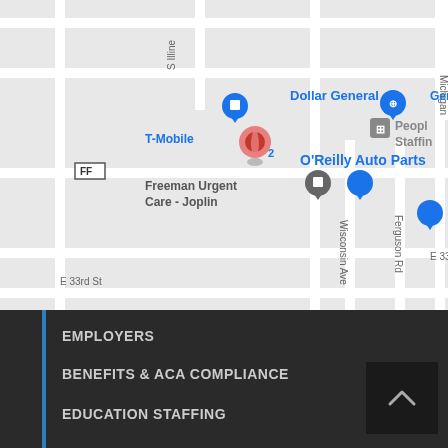[Figure (map): Google Maps screenshot showing area around E 33rd St in Joplin, Missouri. Landmarks include T-Mobile, Dollar General, O'Reilly Auto Parts, Freeman Urgent Care - Joplin, People Staffing. Street labels include S Illinois Ave, Michigan Ave, Wisconsin Ave, Ferguson Rd, E 33rd St.]
EMPLOYERS
BENEFITS & ACA COMPLIANCE
EDUCATION STAFFING